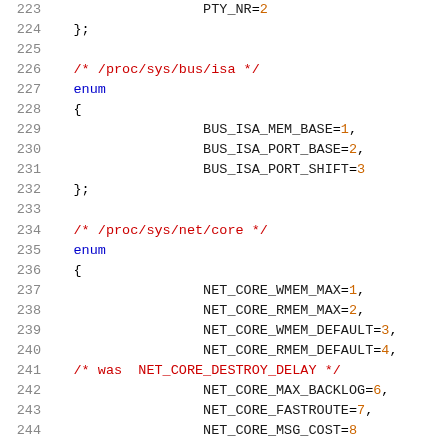Source code listing, lines 223-244, C enum definitions for /proc/sys/bus/isa and /proc/sys/net/core kernel parameters